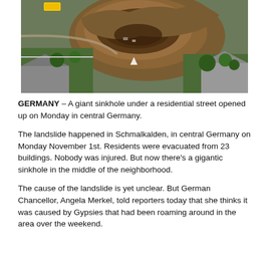[Figure (photo): Aerial photograph of a giant sinkhole/landslide in a residential neighborhood, showing a large crater of exposed earth surrounded by houses, gardens and trees. A yellow school bus is visible in the upper left.]
GERMANY – A giant sinkhole under a residential street opened up on Monday in central Germany.
The landslide happened in Schmalkalden, in central Germany on Monday November 1st. Residents were evacuated from 23 buildings. Nobody was injured. But now there's a gigantic sinkhole in the middle of the neighborhood.
The cause of the landslide is yet unclear. But German Chancellor, Angela Merkel, told reporters today that she thinks it was caused by Gypsies that had been roaming around in the area over the weekend.